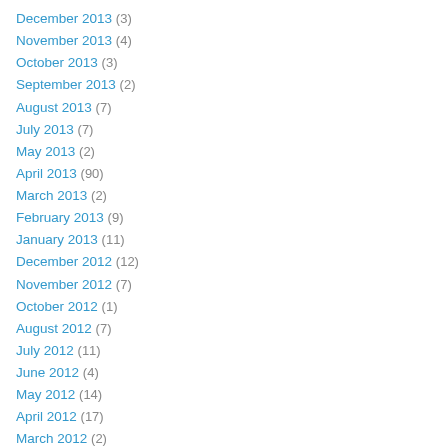December 2013 (3)
November 2013 (4)
October 2013 (3)
September 2013 (2)
August 2013 (7)
July 2013 (7)
May 2013 (2)
April 2013 (90)
March 2013 (2)
February 2013 (9)
January 2013 (11)
December 2012 (12)
November 2012 (7)
October 2012 (1)
August 2012 (7)
July 2012 (11)
June 2012 (4)
May 2012 (14)
April 2012 (17)
March 2012 (2)